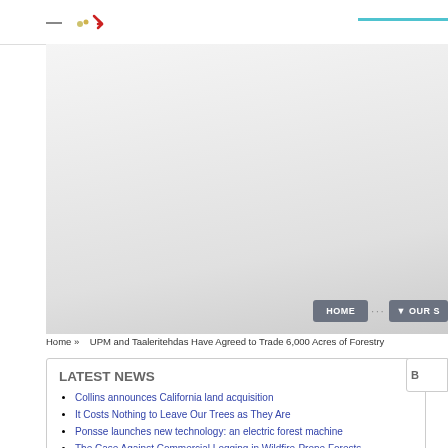[Figure (logo): Partial website logo with dash and red/olive SVG icon elements]
[Figure (screenshot): Large banner/hero image area with gradient background]
HOME  ···  ▼ OUR S
Home »   UPM and Taaleritehdas Have Agreed to Trade 6,000 Acres of Forestry
LATEST NEWS
Collins announces California land acquisition
It Costs Nothing to Leave Our Trees as They Are
Ponsse launches new technology: an electric forest machine
The Case Against Commercial Logging in Wildfire-Prone Forests
▶ More
B